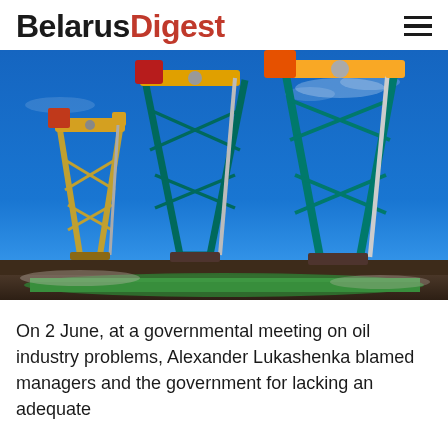BelarusDigest
[Figure (photo): Oil pump jacks against a bright blue sky, multiple yellow and teal colored pumpjacks in an oil field]
On 2 June, at a governmental meeting on oil industry problems, Alexander Lukashenka blamed managers and the government for lacking an adequate